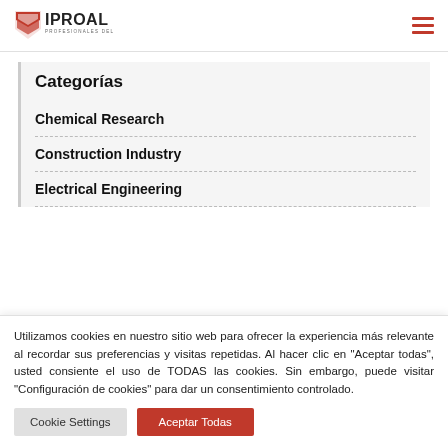IPROAL - PROFESIONALES DEL ALUMINIO
Categorías
Chemical Research
Construction Industry
Electrical Engineering
Utilizamos cookies en nuestro sitio web para ofrecer la experiencia más relevante al recordar sus preferencias y visitas repetidas. Al hacer clic en "Aceptar todas", usted consiente el uso de TODAS las cookies. Sin embargo, puede visitar "Configuración de cookies" para dar un consentimiento controlado.
Cookie Settings | Aceptar Todas